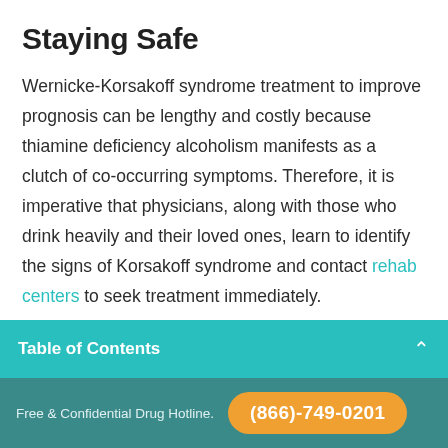Staying Safe
Wernicke-Korsakoff syndrome treatment to improve prognosis can be lengthy and costly because thiamine deficiency alcoholism manifests as a clutch of co-occurring symptoms. Therefore, it is imperative that physicians, along with those who drink heavily and their loved ones, learn to identify the signs of Korsakoff syndrome and contact rehab centers to seek treatment immediately.
Table of Contents
Free & Confidential Drug Hotline. (866)-749-0201